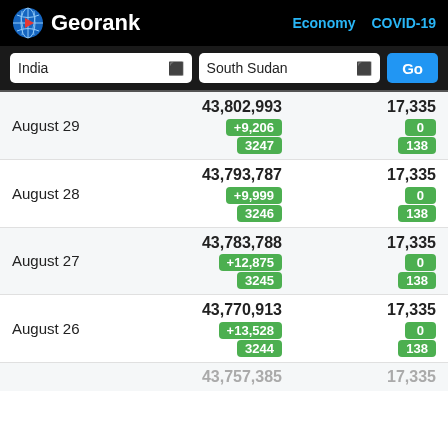Georank — Economy COVID-19
India / South Sudan — Go
| Date | India | South Sudan |
| --- | --- | --- |
| August 29 | 43,802,993 / +9,206 / 3247 | 17,335 / 0 / 138 |
| August 28 | 43,793,787 / +9,999 / 3246 | 17,335 / 0 / 138 |
| August 27 | 43,783,788 / +12,875 / 3245 | 17,335 / 0 / 138 |
| August 26 | 43,770,913 / +13,528 / 3244 | 17,335 / 0 / 138 |
|  | 43,757,385 | 17,335 |